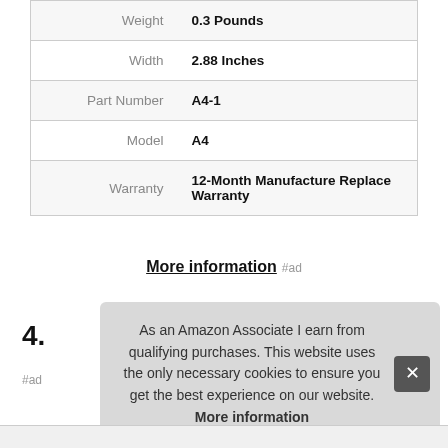| Attribute | Value |
| --- | --- |
| Weight | 0.3 Pounds |
| Width | 2.88 Inches |
| Part Number | A4-1 |
| Model | A4 |
| Warranty | 12-Month Manufacture Replace Warranty |
More information #ad
4.
#ad
As an Amazon Associate I earn from qualifying purchases. This website uses the only necessary cookies to ensure you get the best experience on our website. More information